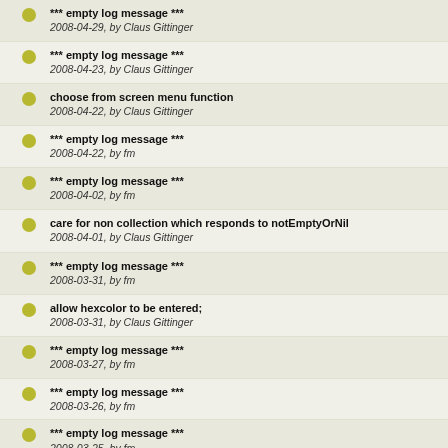*** empty log message ***, 2008-04-29, by Claus Gittinger
*** empty log message ***, 2008-04-23, by Claus Gittinger
choose from screen menu function, 2008-04-22, by Claus Gittinger
*** empty log message ***, 2008-04-22, by fm
*** empty log message ***, 2008-04-02, by fm
care for non collection which responds to notEmptyOrNil, 2008-04-01, by Claus Gittinger
*** empty log message ***, 2008-03-31, by fm
allow hexcolor to be entered;, 2008-03-31, by Claus Gittinger
*** empty log message ***, 2008-03-27, by fm
*** empty log message ***, 2008-03-26, by fm
*** empty log message ***, 2008-03-25, by fm
*** empty log message ***, 2008-03-10, by Claus Gittinger